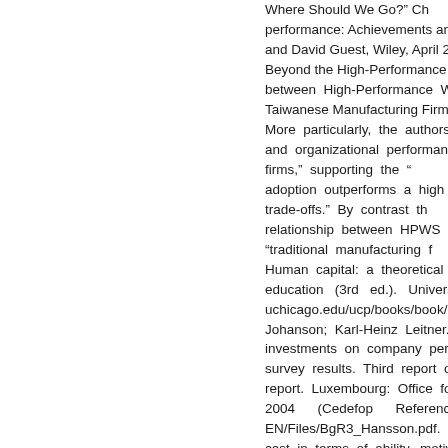Where Should We Go?&rdquo; Ch performance: Achievements and Ch and David Guest, Wiley, April 2013, 1 Beyond the High-Performance Pa between High-Performance Work Taiwanese Manufacturing Firms. Bri More particularly, the authors repo and organizational performance firms,&rdquo; supporting the &ldq adoption outperforms a high level trade-offs.&rdquo; By contrast th relationship between HPWS or HPW &ldquo;traditional manufacturing f Human capital: a theoretical and education (3rd ed.). Universi uchicago.edu/ucp/books/book/chica Johanson; Karl-Heinz Leitner. 2004. investments on company perform survey results. Third report on voc report. Luxembourg: Office for Offi 2004 (Cedefop Reference s EN/Files/BgR3_Hansson.pdf. 29 Mo cast in terms of ability, motivation